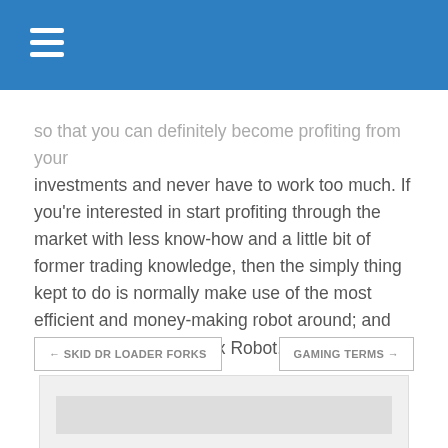so that you can definitely become profiting from your investments and never have to work too much. If you're interested in start profiting through the market with less know-how and a little bit of former trading knowledge, then the simply thing kept to do is normally make use of the most efficient and money-making robot around; and that is the Bitcoins Forex Robot.
← SKID DR LOADER FORKS
GAMING TERMS →